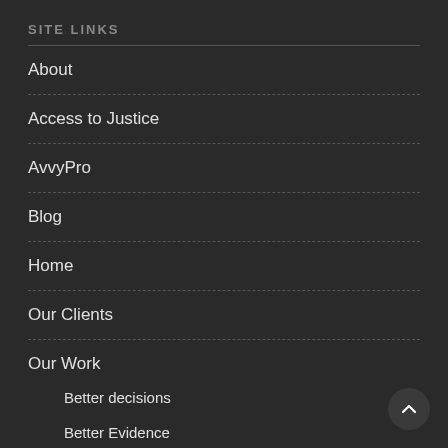SITE LINKS
About
Access to Justice
AvvyPro
Blog
Home
Our Clients
Our Work
Better decisions
Better Evidence
Proactive Regulation (PMBR)